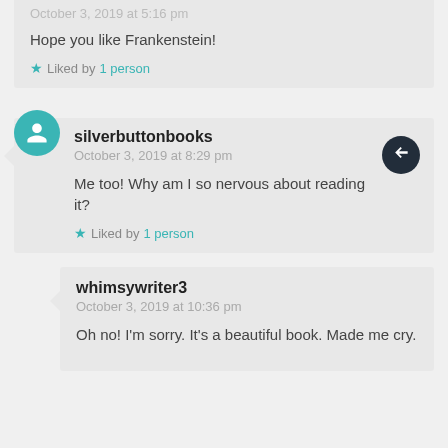October 3, 2019 at 5:16 pm
Hope you like Frankenstein!
Liked by 1 person
silverbuttonbooks
October 3, 2019 at 8:29 pm
Me too! Why am I so nervous about reading it?
Liked by 1 person
whimsywriter3
October 3, 2019 at 10:36 pm
Oh no! I'm sorry. It's a beautiful book. Made me cry.